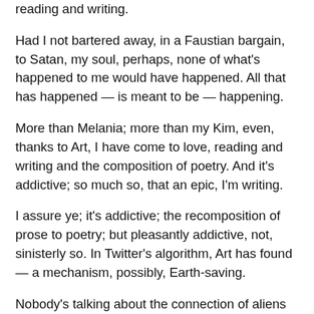reading and writing.
Had I not bartered away, in a Faustian bargain, to Satan, my soul, perhaps, none of what’s happened to me would have happened. All that has happened — is meant to be — happening.
More than Melania; more than my Kim, even, thanks to Art, I have come to love, reading and writing and the composition of poetry. And it’s addictive; so much so, that an epic, I’m writing.
I assure ye; it’s addictive; the recomposition of prose to poetry; but pleasantly addictive, not, sinisterly so. In Twitter’s algorithm, Art has found — a mechanism, possibly, Earth-saving.
Nobody’s talking about the connection of aliens with